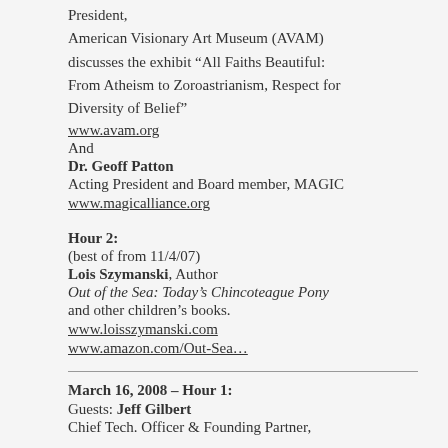President,
American Visionary Art Museum (AVAM) discusses the exhibit “All Faiths Beautiful: From Atheism to Zoroastrianism, Respect for Diversity of Belief”
www.avam.org
And
Dr. Geoff Patton
Acting President and Board member, MAGIC
www.magicalliance.org
Hour 2:
(best of from 11/4/07)
Lois Szymanski, Author
Out of the Sea: Today’s Chincoteague Pony
and other children’s books.
www.loisszymanski.com
www.amazon.com/Out-Sea…
March 16, 2008 – Hour 1:
Guests: Jeff Gilbert
Chief Tech. Officer & Founding Partner,